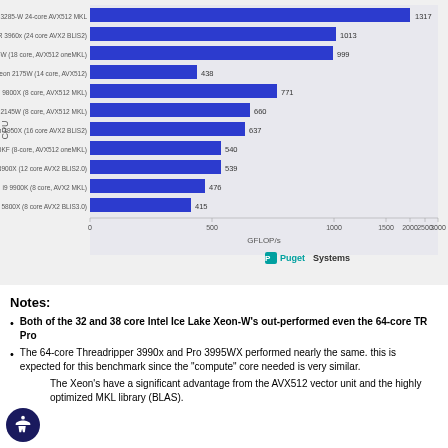[Figure (bar-chart): CPU GFLOP/s benchmark]
Notes:
Both of the 32 and 38 core Intel Ice Lake Xeon-W's out-performed even the 64-core TR Pro
The 64-core Threadripper 3990x and Pro 3995WX performed nearly the same. this is expected for this benchmark since the "compute" core needed is very similar.
The Xeon's have a significant advantage from the AVX512 vector unit and the highly optimized MKL library (BLAS).